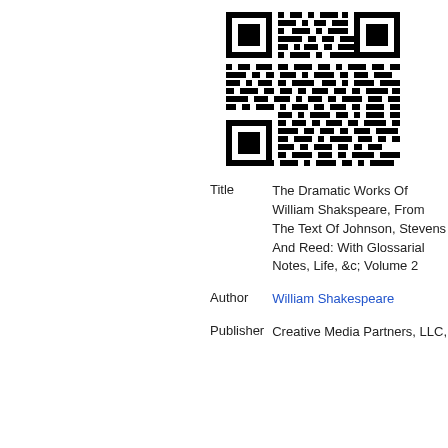[Figure (other): QR code in black and white]
| Title | The Dramatic Works Of William Shakspeare, From The Text Of Johnson, Stevens And Reed: With Glossarial Notes, Life, &c; Volume 2 |
| Author | William Shakespeare |
| Publisher | Creative Media Partners, LLC, |